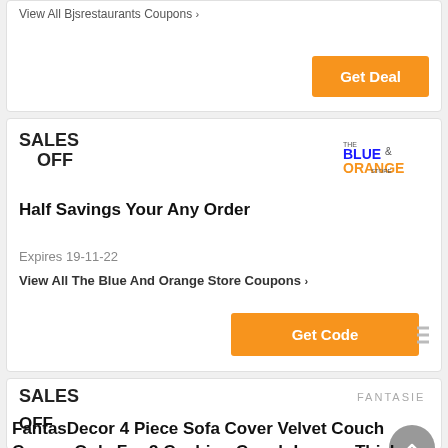View All Bjsrestaurants Coupons >
Get Deal
SALES
  OFF
Half Savings Your Any Order
Expires 19-11-22
View All The Blue And Orange Store Coupons >
Get Code
SALES
  OFF
FantasDecor 4 Piece Sofa Cover Velvet Couch Covers Only For 3 Cushion Couch Luxury Thick Sofa Slipcover With Non Slip Straps Furniture Protector, Couch Covers For Dogs, Form Fit Couch Slipcover, Off White...